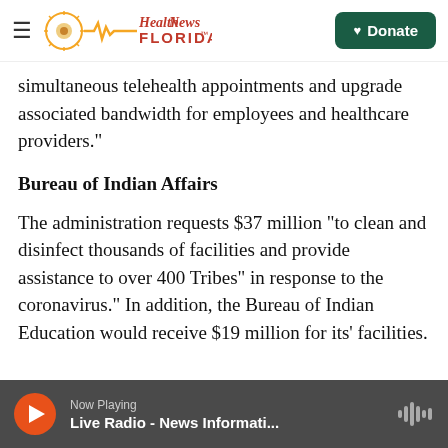Health News Florida — Donate
simultaneous telehealth appointments and upgrade associated bandwidth for employees and healthcare providers."
Bureau of Indian Affairs
The administration requests $37 million "to clean and disinfect thousands of facilities and provide assistance to over 400 Tribes" in response to the coronavirus." In addition, the Bureau of Indian Education would receive $19 million for its' facilities.
Now Playing — Live Radio - News Informati...